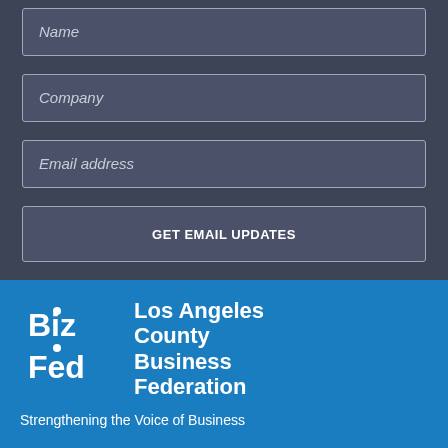Name
Company
Email address
GET EMAIL UPDATES
[Figure (logo): BizFed logo with stylized Biz Fed text in white on blue background]
Los Angeles County Business Federation
Strengthening the Voice of Business
6055 E Washington Blvd, #1005, Commerce, CA 90040